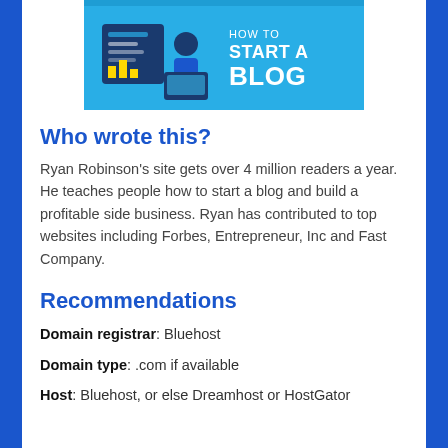[Figure (illustration): Banner graphic with blue background showing 'HOW TO START A BLOG' text and cartoon icons of a person at a computer with charts]
Who wrote this?
Ryan Robinson's site gets over 4 million readers a year. He teaches people how to start a blog and build a profitable side business. Ryan has contributed to top websites including Forbes, Entrepreneur, Inc and Fast Company.
Recommendations
Domain registrar: Bluehost
Domain type: .com if available
Host: Bluehost, or else Dreamhost or HostGator